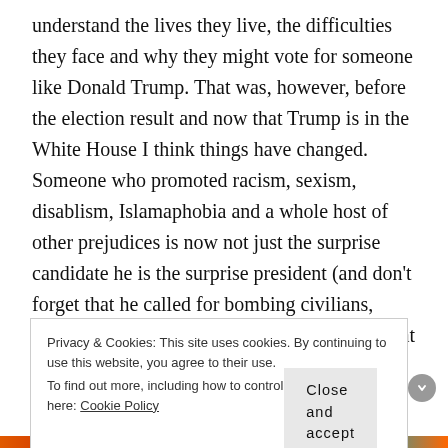understand the lives they live, the difficulties they face and why they might vote for someone like Donald Trump. That was, however, before the election result and now that Trump is in the White House I think things have changed. Someone who promoted racism, sexism, disablism, Islamaphobia and a whole host of other prejudices is now not just the surprise candidate he is the surprise president (and don't forget that he called for bombing civilians, waterboarding and stealing Iraq's oil). He might be backtracking on his wall and offering a fence instead and he might be telling people to 'stop, just stop'
Privacy & Cookies: This site uses cookies. By continuing to use this website, you agree to their use.
To find out more, including how to control cookies, see here: Cookie Policy
Close and accept